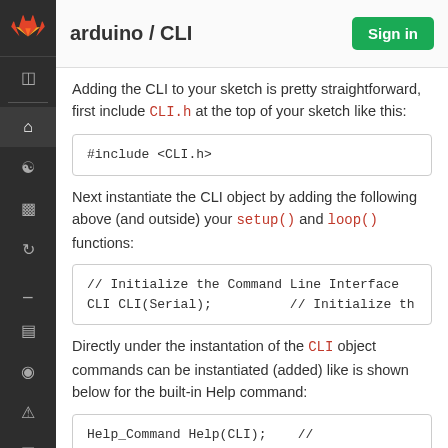arduino / CLI
Adding the CLI to your sketch is pretty straightforward, first include CLI.h at the top of your sketch like this:
Next instantiate the CLI object by adding the following above (and outside) your setup() and loop() functions:
Directly under the instantation of the CLI object commands can be instantiated (added) like is shown below for the built-in Help command: